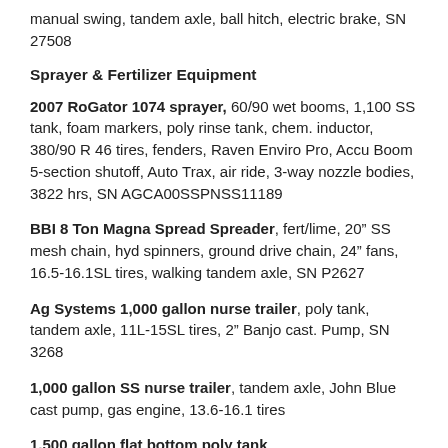manual swing, tandem axle, ball hitch, electric brake, SN 27508
Sprayer & Fertilizer Equipment
2007 RoGator 1074 sprayer, 60/90 wet booms, 1,100 SS tank, foam markers, poly rinse tank, chem. inductor, 380/90 R 46 tires, fenders, Raven Enviro Pro, Accu Boom 5-section shutoff, Auto Trax, air ride, 3-way nozzle bodies, 3822 hrs, SN AGCA00SSPNSS11189
BBI 8 Ton Magna Spread Spreader, fert/lime, 20” SS mesh chain, hyd spinners, ground drive chain, 24” fans, 16.5-16.1SL tires, walking tandem axle, SN P2627
Ag Systems 1,000 gallon nurse trailer, poly tank, tandem axle, 11L-15SL tires, 2” Banjo cast. Pump, SN 3268
1,000 gallon SS nurse trailer, tandem axle, John Blue cast pump, gas engine, 13.6-16.1 tires
1,500 gallon flat bottom poly tank
(2) 1,600 gallon flat bottom poly tanks